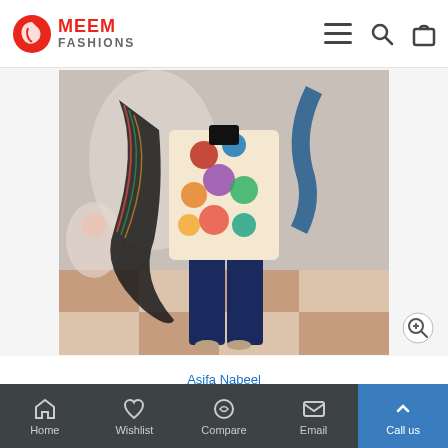MEEM FASHIONS
[Figure (photo): A woman wearing a colorful Pakistani dress/suit with floral prints, dark dupatta, and navy blue trousers, standing on a patterned floor]
Asifa Nabeel
Pakistani Dress Asifa Nabeel Festive Lawn Collection 2B-Lightening Colors
Home  Wishlist  Compare  Email  Call us